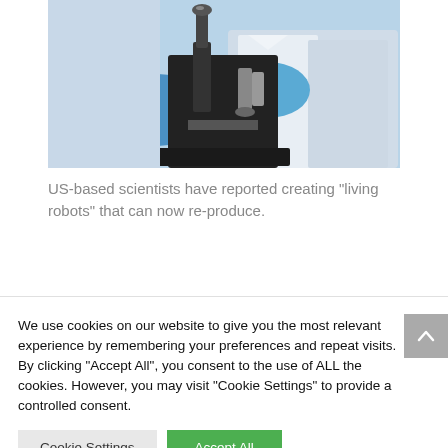[Figure (photo): A scientist in a white lab coat and blue gloves using a microscope in a laboratory setting.]
US-based scientists have reported creating “living robots” that can now re-produce.
We use cookies on our website to give you the most relevant experience by remembering your preferences and repeat visits. By clicking “Accept All”, you consent to the use of ALL the cookies. However, you may visit "Cookie Settings" to provide a controlled consent.